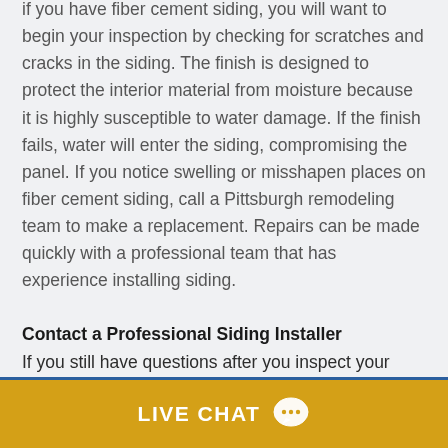if you have fiber cement siding, you will want to begin your inspection by checking for scratches and cracks in the siding. The finish is designed to protect the interior material from moisture because it is highly susceptible to water damage. If the finish fails, water will enter the siding, compromising the panel. If you notice swelling or misshapen places on fiber cement siding, call a Pittsburgh remodeling team to make a replacement. Repairs can be made quickly with a professional team that has experience installing siding.
Contact a Professional Siding Installer
If you still have questions after you inspect your siding, always call a professional siding company to come and assess the situation for you. Most companies will provide free estimates for the cost of replacing your siding and
[Figure (other): Yellow/gold live chat button bar with white bold text 'LIVE CHAT' and speech bubble chat icon]